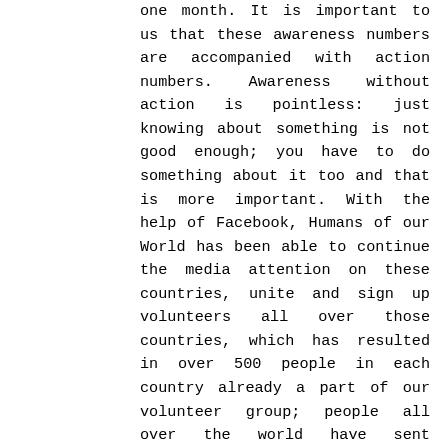one month. It is important to us that these awareness numbers are accompanied with action numbers. Awareness without action is pointless: just knowing about something is not good enough; you have to do something about it too and that is more important. With the help of Facebook, Humans of our World has been able to continue the media attention on these countries, unite and sign up volunteers all over those countries, which has resulted in over 500 people in each country already a part of our volunteer group; people all over the world have sent donations and help to through Humans Of Our World as we make sure 100% reaches the victims within one month. Again, Humans of our World does not store these donations in our personal accounts; we make sure the 100% of the donations, be it money or products, reaches the victims within a month. We have truly seen the greatness of Facebook and social media, all